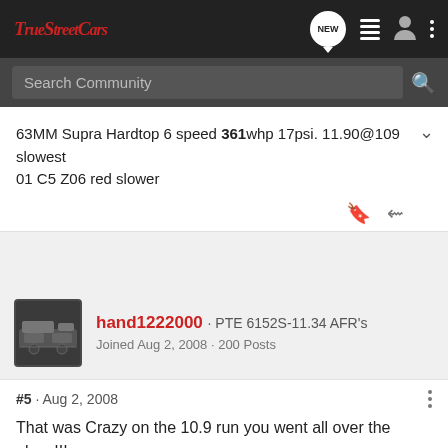True Street Cars — navigation bar with logo, NEW chat, menu, user, and options icons
Search Community
63MM Supra Hardtop 6 speed 361whp 17psi. 11.90@109 slowest 01 C5 Z06 red slower
[Figure (photo): User avatar photo of hand1222000 showing a car engine bay]
hand1222000 · PTE 6152S-11.34 AFR's
Joined Aug 2, 2008 · 200 Posts
#5 · Aug 2, 2008
That was Crazy on the 10.9 run you went all over the place!!!